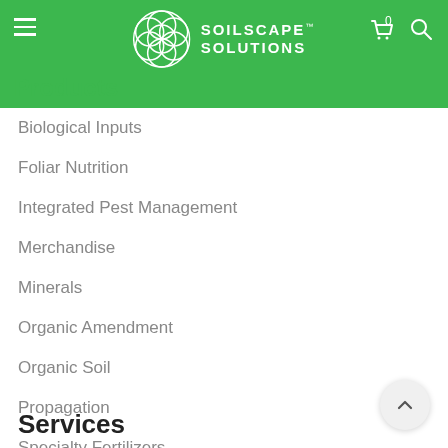SOILSCAPE™ SOLUTIONS
Products
Biological Inputs
Foliar Nutrition
Integrated Pest Management
Merchandise
Minerals
Organic Amendment
Organic Soil
Propagation
Specialty Fertilizers
Tools and Equipment
Services